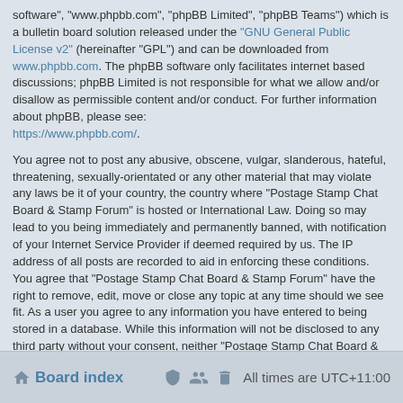software", "www.phpbb.com", "phpBB Limited", "phpBB Teams") which is a bulletin board solution released under the "GNU General Public License v2" (hereinafter "GPL") and can be downloaded from www.phpbb.com. The phpBB software only facilitates internet based discussions; phpBB Limited is not responsible for what we allow and/or disallow as permissible content and/or conduct. For further information about phpBB, please see: https://www.phpbb.com/.
You agree not to post any abusive, obscene, vulgar, slanderous, hateful, threatening, sexually-orientated or any other material that may violate any laws be it of your country, the country where “Postage Stamp Chat Board & Stamp Forum” is hosted or International Law. Doing so may lead to you being immediately and permanently banned, with notification of your Internet Service Provider if deemed required by us. The IP address of all posts are recorded to aid in enforcing these conditions. You agree that “Postage Stamp Chat Board & Stamp Forum” have the right to remove, edit, move or close any topic at any time should we see fit. As a user you agree to any information you have entered to being stored in a database. While this information will not be disclosed to any third party without your consent, neither “Postage Stamp Chat Board & Stamp Forum” nor phpBB shall be held responsible for any hacking attempt that may lead to the data being compromised.
Board index   All times are UTC+11:00